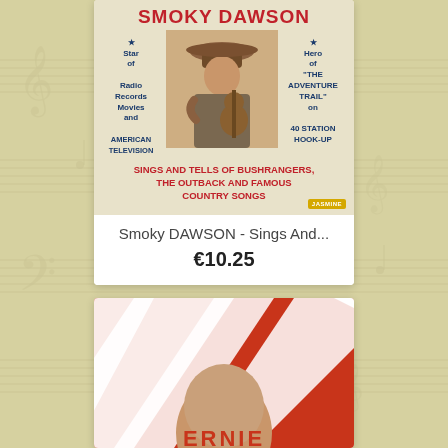[Figure (illustration): Album cover for Smoky Dawson: 'Smoky Dawson - Sings And Tells Of Bushrangers, The Outback And Famous Country Songs'. Cream/tan background with man in cowboy hat playing guitar in center. Text on left: Star of Radio Records Movies and American Television. Text on right: Hero of The Adventure Trail on 40 Station Hook-Up. Jasmine Records label badge at bottom right.]
Smoky DAWSON - Sings And...
€10.25
[Figure (photo): Partial album cover showing a person's face (cropped at bottom of page) with red and white diagonal stripe pattern background. Text partially visible at bottom: ERNIE]